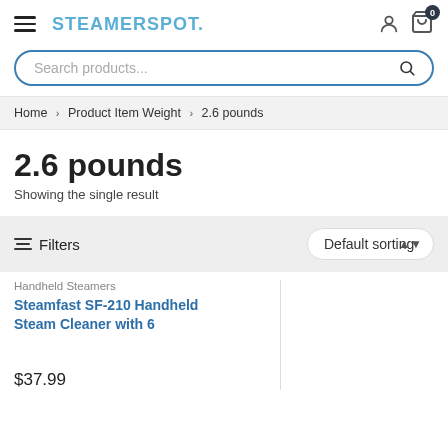STEAMERSPOT.
Search products...
Home > Product Item Weight > 2.6 pounds
2.6 pounds
Showing the single result
Filters  Default sorting
Handheld Steamers
Steamfast SF-210 Handheld Steam Cleaner with 6
$37.99